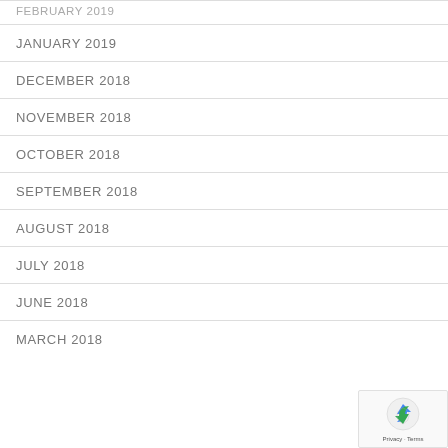FEBRUARY 2019
JANUARY 2019
DECEMBER 2018
NOVEMBER 2018
OCTOBER 2018
SEPTEMBER 2018
AUGUST 2018
JULY 2018
JUNE 2018
MARCH 2018